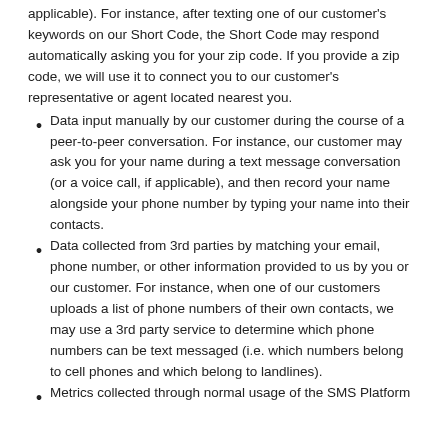applicable). For instance, after texting one of our customer's keywords on our Short Code, the Short Code may respond automatically asking you for your zip code. If you provide a zip code, we will use it to connect you to our customer's representative or agent located nearest you.
Data input manually by our customer during the course of a peer-to-peer conversation. For instance, our customer may ask you for your name during a text message conversation (or a voice call, if applicable), and then record your name alongside your phone number by typing your name into their contacts.
Data collected from 3rd parties by matching your email, phone number, or other information provided to us by you or our customer. For instance, when one of our customers uploads a list of phone numbers of their own contacts, we may use a 3rd party service to determine which phone numbers can be text messaged (i.e. which numbers belong to cell phones and which belong to landlines).
Metrics collected through normal usage of the SMS Platform